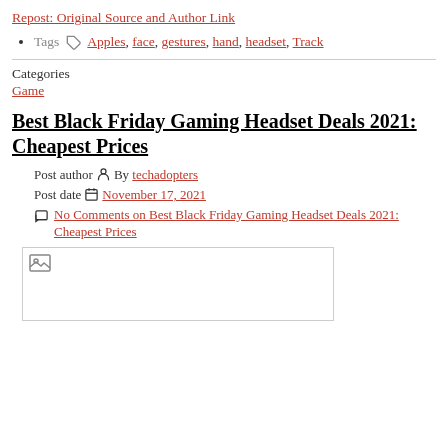Repost: Original Source and Author Link
Tags  Apples, face, gestures, hand, headset, Track
Categories
Game
Best Black Friday Gaming Headset Deals 2021: Cheapest Prices
Post author  By techadopters
Post date  November 17, 2021
No Comments on Best Black Friday Gaming Headset Deals 2021: Cheapest Prices
[Figure (photo): Image placeholder with broken image icon]